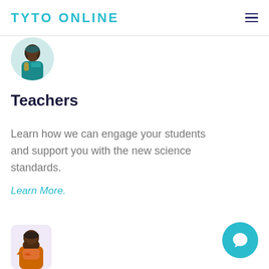TYTO ONLINE
[Figure (illustration): Circular avatar illustration of a person in colorful African attire, partially cropped at top of content area]
Teachers
Learn how we can engage your students and support you with the new science standards.
Learn More.
[Figure (illustration): Rounded square avatar illustration of a person in orange wrap, partially visible at bottom of page]